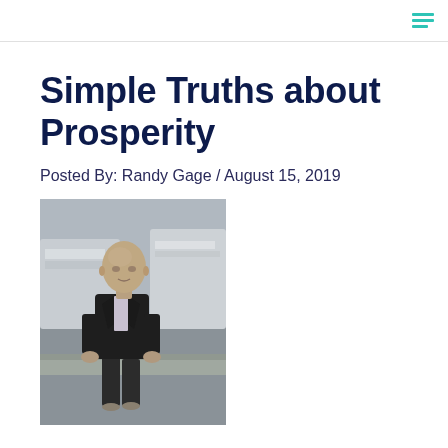Simple Truths about Prosperity
Posted By: Randy Gage / August 15, 2019
[Figure (photo): A bald man in a dark suit sitting on a dock or pier with large boats/yachts in the background, photo is in black and white tones]